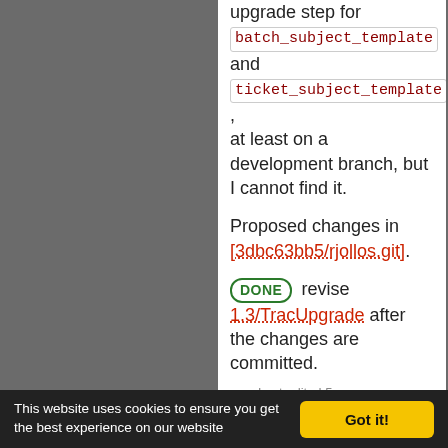upgrade step for batch_subject_template and ticket_subject_template, at least on a development branch, but I cannot find it.
Proposed changes in [3dbc63bb5/rjollos.git].
DONE revise 1.3/TracUpgrade after the changes are committed.
Last edited 5 years ago by Ryan J Ollos (previous) (diff)
in reply to: ↑ 44
comment:45 by anonymous, 5 years ago
This website uses cookies to ensure you get the best experience on our website   Got it!